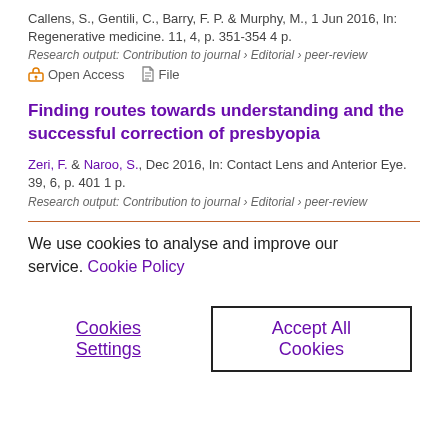Callens, S., Gentili, C., Barry, F. P. & Murphy, M., 1 Jun 2016, In: Regenerative medicine. 11, 4, p. 351-354 4 p.
Research output: Contribution to journal › Editorial › peer-review
Open Access   File
Finding routes towards understanding and the successful correction of presbyopia
Zeri, F. & Naroo, S., Dec 2016, In: Contact Lens and Anterior Eye. 39, 6, p. 401 1 p.
Research output: Contribution to journal › Editorial › peer-review
We use cookies to analyse and improve our service. Cookie Policy
Cookies Settings
Accept All Cookies